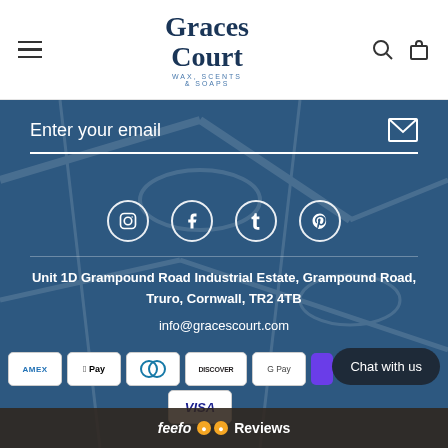[Figure (logo): Graces Court Wax, Scents & Soaps logo with hamburger menu, search and bag icons]
Enter your email
[Figure (infographic): Social media icons: Instagram, Facebook, Tumblr, Pinterest]
Unit 1D Grampound Road Industrial Estate, Grampound Road, Truro, Cornwall, TR2 4TB
info@gracescourt.com
[Figure (infographic): Payment method logos: Amex, Apple Pay, Diners Club, Discover, Google Pay, partial purple, Visa]
Chat with us
feefo Reviews